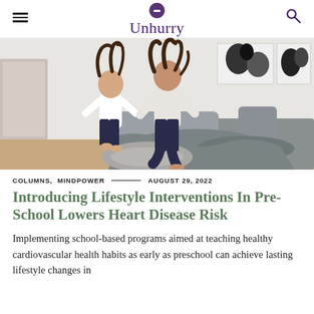Unhurry
[Figure (photo): Two young girls with dark hair jumping and playing on a bed with grey bedding, wearing white tops and dark pants. Room has white walls with abstract black and white artwork in the background.]
COLUMNS,  MINDPOWER  ——————  AUGUST 29, 2022
Introducing Lifestyle Interventions In Pre-School Lowers Heart Disease Risk
Implementing school-based programs aimed at teaching healthy cardiovascular health habits as early as preschool can achieve lasting lifestyle changes in